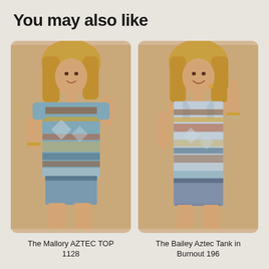You may also like
[Figure (photo): Woman wearing The Mallory AZTEC TOP - a short sleeve aztec/tribal print top in blue, terracotta, tan tones, paired with denim cutoff shorts. She has blonde hair and is posing with hand near face.]
[Figure (photo): Woman wearing The Bailey Aztec Tank in Burnout - a racerback tank top with aztec/tribal print in blue, terracotta, tan tones, paired with denim cutoff shorts. She has blonde hair and is smiling with hand raised.]
The Mallory AZTEC TOP 1128
The Bailey Aztec Tank in Burnout 196